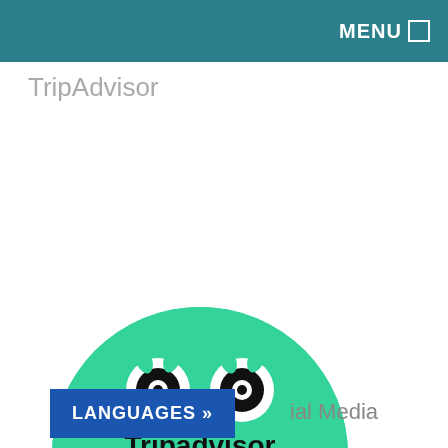MENU
TripAdvisor
[Figure (logo): TripAdvisor logo: green semicircle with owl eyes and 'Tripadvisor' text in black]
LANGUAGES »
ial Media